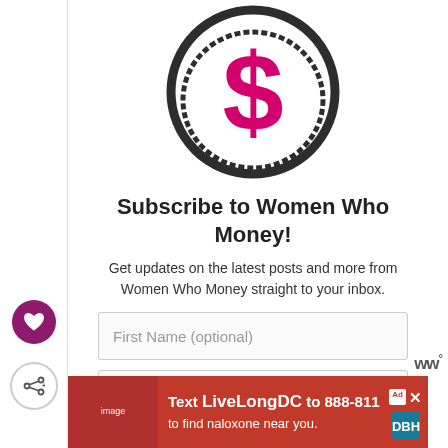[Figure (logo): Women Who Money logo: a dark circle with a pink dollar sign inside]
Subscribe to Women Who Money!
Get updates on the latest posts and more from Women Who Money straight to your inbox.
[Figure (screenshot): Input field with placeholder text 'First Name (optional)']
[Figure (screenshot): Input field with placeholder text 'Your Email...']
[Figure (infographic): Red advertisement banner: Text LiveLongDC to 888-811 to find naloxone near you.]